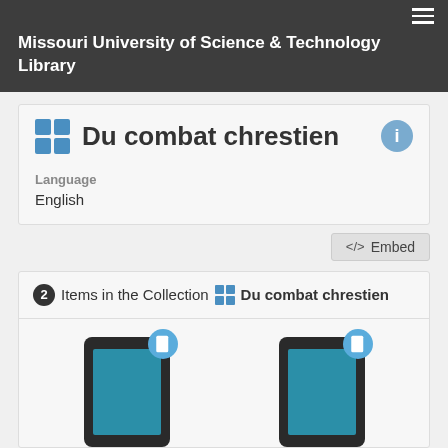Missouri University of Science & Technology Library
Du combat chrestien
Language
English
</> Embed
2 Items in the Collection Du combat chrestien
[Figure (screenshot): Two phone/tablet item thumbnails showing teal screens with tablet badge icons]